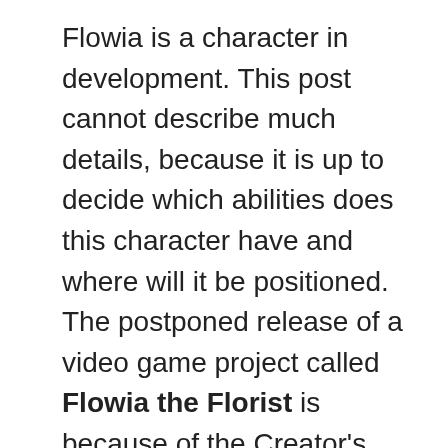Flowia is a character in development. This post cannot describe much details, because it is up to decide which abilities does this character have and where will it be positioned. The postponed release of a video game project called Flowia the Florist is because of the Creator's time organization and lack of good quality content and ideas. This game describes the next spring, where this character is the one and only talking flower. Flowia was never used before Inktober, but the inspiration for this character can be seen on Undertale character designs, coming